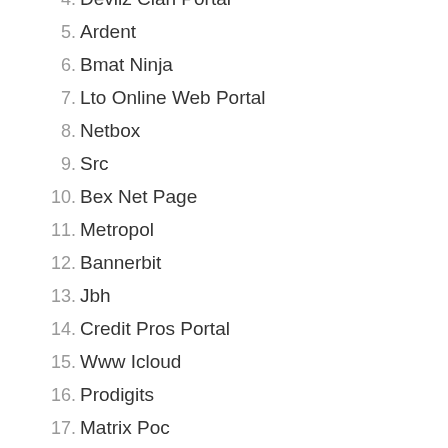4. Devilz Clan Portal
5. Ardent
6. Bmat Ninja
7. Lto Online Web Portal
8. Netbox
9. Src
10. Bex Net Page
11. Metropol
12. Bannerbit
13. Jbh
14. Credit Pros Portal
15. Www Icloud
16. Prodigits
17. Matrix Poc